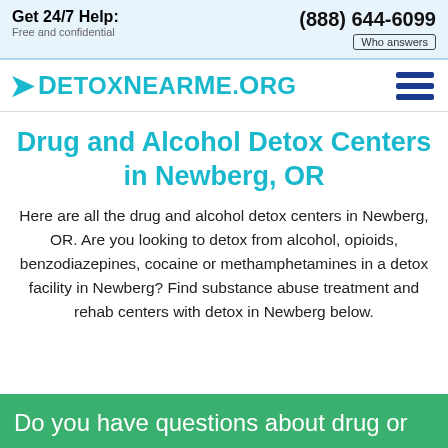Get 24/7 Help: Free and confidential | (888) 644-6099 | Who answers
[Figure (logo): DetoxNearMe.org logo with teal arrow and hamburger menu icon]
Drug and Alcohol Detox Centers in Newberg, OR
Here are all the drug and alcohol detox centers in Newberg, OR. Are you looking to detox from alcohol, opioids, benzodiazepines, cocaine or methamphetamines in a detox facility in Newberg? Find substance abuse treatment and rehab centers with detox in Newberg below.
Do you have questions about drug or